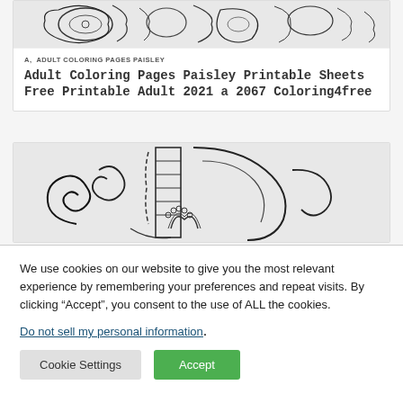[Figure (illustration): Decorative paisley coloring page pattern with swirls and floral elements in black and white]
A, ADULT COLORING PAGES PAISLEY
Adult Coloring Pages Paisley Printable Sheets Free Printable Adult 2021 a 2067 Coloring4free
[Figure (illustration): Decorative black and white coloring page with ornate letter and paisley/swirl patterns]
We use cookies on our website to give you the most relevant experience by remembering your preferences and repeat visits. By clicking “Accept”, you consent to the use of ALL the cookies.
Do not sell my personal information.